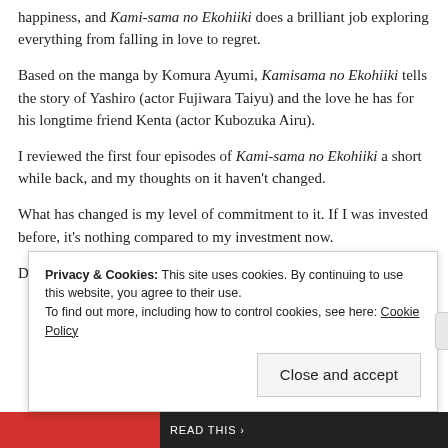happiness, and Kami-sama no Ekohiiki does a brilliant job exploring everything from falling in love to regret.
Based on the manga by Komura Ayumi, Kamisama no Ekohiiki tells the story of Yashiro (actor Fujiwara Taiyu) and the love he has for his longtime friend Kenta (actor Kubozuka Airu).
I reviewed the first four episodes of Kami-sama no Ekohiiki a short while back, and my thoughts on it haven't changed.
What has changed is my level of commitment to it. If I was invested before, it's nothing compared to my investment now.
During the final episode, I cried.
Privacy & Cookies: This site uses cookies. By continuing to use this website, you agree to their use. To find out more, including how to control cookies, see here: Cookie Policy